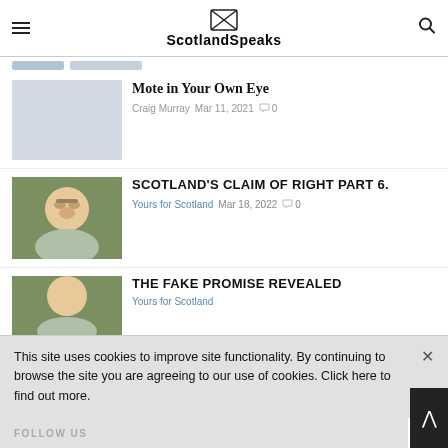ScotlandSpeaks
Mote in Your Own Eye — Craig Murray  Mar 11, 2021  0
SCOTLAND'S CLAIM OF RIGHT PART 6. — Yours for Scotland  Mar 18, 2022  0
THE FAKE PROMISE REVEALED — Yours for Scotland
This site uses cookies to improve site functionality. By continuing to browse the site you are agreeing to our use of cookies. Click here to find out more.
FOLLOW US